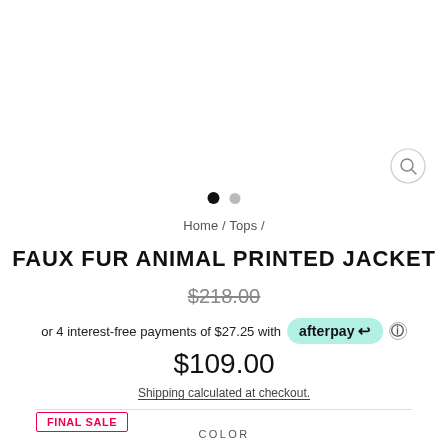[Figure (other): Search icon button (magnifying glass) in top right area]
[Figure (other): Carousel navigation dots: one filled black, one grey]
Home / Tops /
FAUX FUR ANIMAL PRINTED JACKET
$218.00 (strikethrough original price)
or 4 interest-free payments of $27.25 with afterpay
$109.00
Shipping calculated at checkout.
FINAL SALE
COLOR